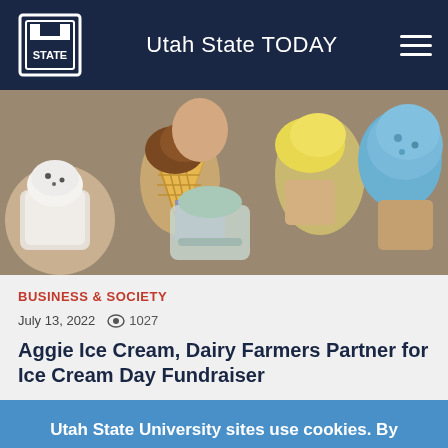Utah State TODAY
[Figure (photo): Children holding ice cream cones and cups with various flavors including white, brown/chocolate, yellow, and blue ice cream scoops]
BUSINESS & SOCIETY
July 13, 2022  1027
Aggie Ice Cream, Dairy Farmers Partner for Ice Cream Day Fundraiser
Utah State University sites use cookies. By continuing to use this site you accept our privacy and cookie policy. I agree